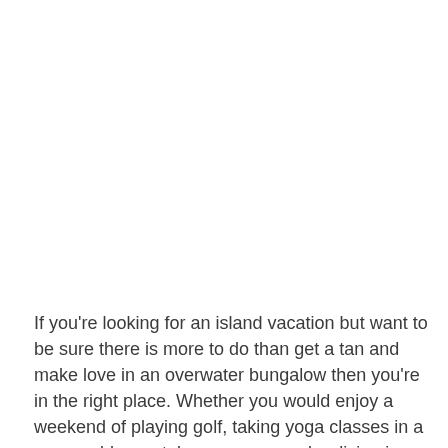If you're looking for an island vacation but want to be sure there is more to do than get a tan and make love in an overwater bungalow then you're in the right place. Whether you would enjoy a weekend of playing golf, taking yoga classes in a memorable crystal cave, or go scuba diving in search of the infamous Bermuda Triangle's sundry sunken